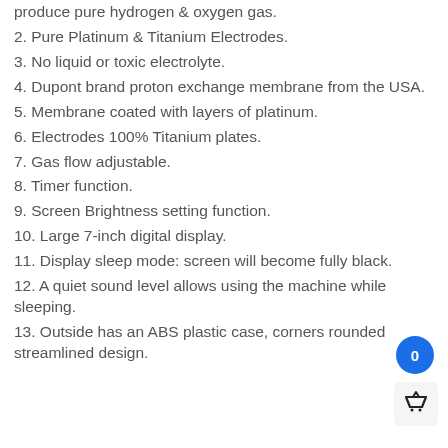produce pure hydrogen & oxygen gas.
2. Pure Platinum & Titanium Electrodes.
3. No liquid or toxic electrolyte.
4. Dupont brand proton exchange membrane from the USA.
5. Membrane coated with layers of platinum.
6. Electrodes 100% Titanium plates.
7. Gas flow adjustable.
8. Timer function.
9. Screen Brightness setting function.
10. Large 7-inch digital display.
11. Display sleep mode: screen will become fully black.
12. A quiet sound level allows using the machine while sleeping.
13. Outside has an ABS plastic case, corners rounded streamlined design.